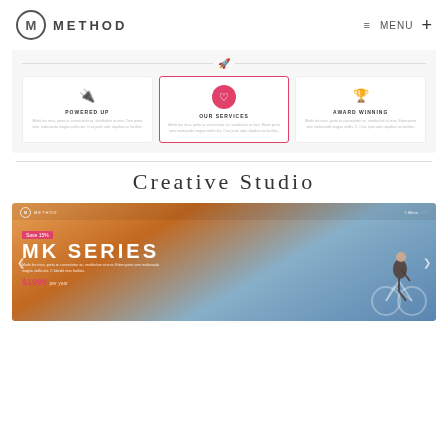METHOD | ≡ MENU +
[Figure (screenshot): Services panel with three cards: Powered Up (plug icon), Our Services (heart icon, highlighted with pink border), Award Winning (trophy icon). A rocket icon with horizontal lines above. Light gray background panel.]
Creative Studio
[Figure (screenshot): Screenshot of Method website showing MK SERIES product page with 'Save 15%' badge, $1999 price, description text, cyclist silhouette photo on gradient background (orange to blue sky). Navigation bar at top with Method logo and cart icon. Left/right navigation arrows.]